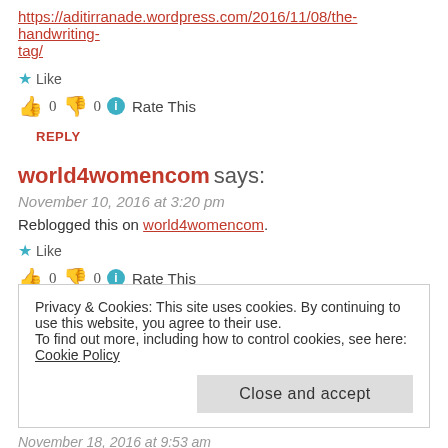https://aditirranade.wordpress.com/2016/11/08/the-handwriting-tag/
★ Like
👍 0 👎 0 ℹ Rate This
REPLY
world4womencom says:
November 10, 2016 at 3:20 pm
Reblogged this on world4womencom.
★ Like
👍 0 👎 0 ℹ Rate This
Privacy & Cookies: This site uses cookies. By continuing to use this website, you agree to their use. To find out more, including how to control cookies, see here: Cookie Policy
Close and accept
November 18, 2016 at 9:53 am